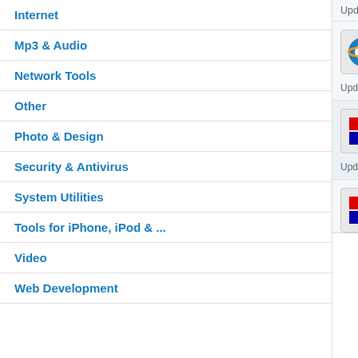Internet
Mp3 & Audio
Network Tools
Other
Photo & Design
Security & Antivirus
System Utilities
Tools for iPhone, iPod & ...
Video
Web Development
Updated: December 19th 2011
Alldj DVD Ripper Platinum 4.4.2 — Alldj DVD Ripper Platinum is a all-in-one
Updated: August 6th 2009
Axife FM Player Deluxe 2.39 Free — Unique Application for TV/Radio Cards!
Updated: August 9th 2005
Data Doctor Recovery Removab... — Software recovers removable disk delete
This website or its third-party tools use cookies, which are necessary to its functioning and required to achieve the purposes illustrated in the cookie policy. If you want to know more or withdraw your consent to all or some of the cookies, please refer to the cookie policy. By closing this banner, clicking a link or continuing to browse otherwise, you agree to the use of cookies.